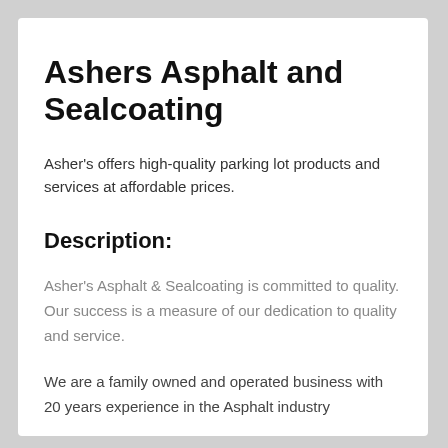Ashers Asphalt and Sealcoating
Asher's offers high-quality parking lot products and services at affordable prices.
Description:
Asher's Asphalt & Sealcoating is committed to quality. Our success is a measure of our dedication to quality and service.
We are a family owned and operated business with 20 years experience in the Asphalt industry